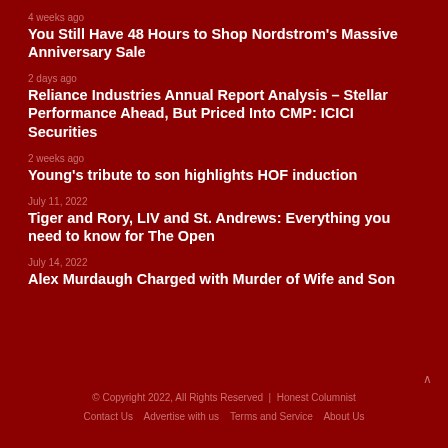4 weeks ago
You Still Have 48 Hours to Shop Nordstrom's Massive Anniversary Sale
2 days ago
Reliance Industries Annual Report Analysis – Stellar Performance Ahead, But Priced Into CMP: ICICI Securities
2 weeks ago
Young's tribute to son highlights HOF induction
July 11, 2022
Tiger and Rory, LIV and St. Andrews: Everything you need to know for The Open
July 14, 2022
Alex Murdaugh Charged with Murder of Wife and Son
© Copyright 2022, All Rights Reserved | Honest Columnist
Contact Us   Advertise with us   Terms and Service   About Us